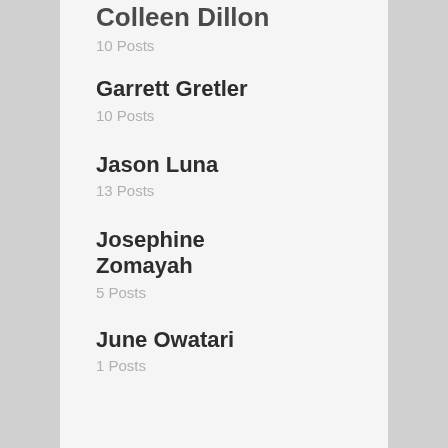Colleen Dillon
10 Posts
Garrett Gretler
10 Posts
Jason Luna
13 Posts
Josephine Zomayah
5 Posts
June Owatari
1 Posts